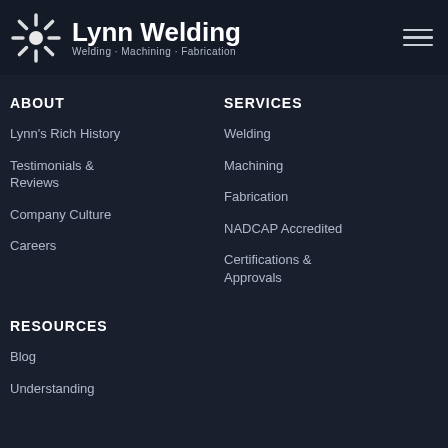Lynn Welding — Welding · Machining · Fabrication
ABOUT
Lynn's Rich History
Testimonials & Reviews
Company Culture
Careers
SERVICES
Welding
Machining
Fabrication
NADCAP Accredited
Certifications & Approvals
RESOURCES
Blog
Understanding